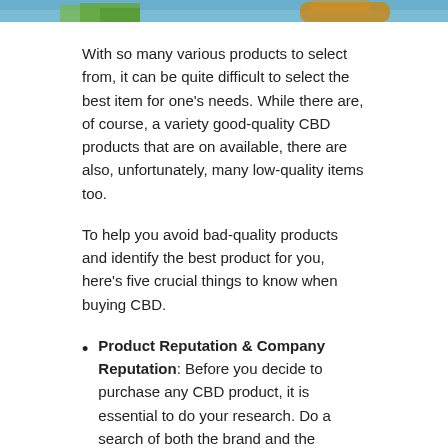[Figure (photo): Partial image of a CBD oil bottle with green leaves and blue sky background, cropped at top of page]
With so many various products to select from, it can be quite difficult to select the best item for one's needs. While there are, of course, a variety good-quality CBD products that are on available, there are also, unfortunately, many low-quality items too.
To help you avoid bad-quality products and identify the best product for you, here's five crucial things to know when buying CBD.
Product Reputation & Company Reputation: Before you decide to purchase any CBD product, it is essential to do your research. Do a search of both the brand and the product to confirm that both have a solid reputation with past shoppers. Look for any red flags that might indicate that the brand is sketchy.